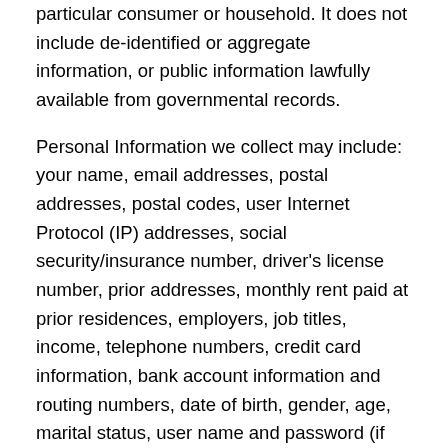particular consumer or household. It does not include de-identified or aggregate information, or public information lawfully available from governmental records.
Personal Information we collect may include: your name, email addresses, postal addresses, postal codes, user Internet Protocol (IP) addresses, social security/insurance number, driver’s license number, prior addresses, monthly rent paid at prior residences, employers, job titles, income, telephone numbers, credit card information, bank account information and routing numbers, date of birth, gender, age, marital status, user name and password (if you choose to become a registered user of the Site or our products and services), emergency contact information, information about